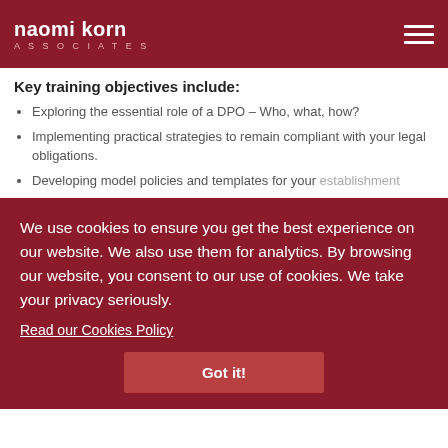naomi korn ASSOCIATES
Key training objectives include:
Exploring the essential role of a DPO – Who, what, how?
Implementing practical strategies to remain compliant with your legal obligations.
Developing model policies and templates for your establishment
Understanding related areas of information management,
across your
Your organisation to achieve compliance
What is a Data Protection Officer (DPO)?
This is the role in an organisation which has responsibility for ensuring that personal data is protected and that the organisation is compliant with this legislation. There should be a degree of independence so the DPO reports direct to the highest management level of the organisation as a part of the
We use cookies to ensure you get the best experience on our website. We also use them for analytics. By browsing our website, you consent to our use of cookies. We take your privacy seriously.
Read our Cookies Policy
Got it!